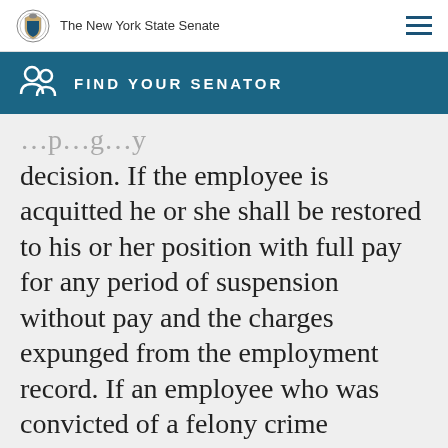The New York State Senate
FIND YOUR SENATOR
decision. If the employee is acquitted he or she shall be restored to his or her position with full pay for any period of suspension without pay and the charges expunged from the employment record. If an employee who was convicted of a felony crime specified in paragraph b of subdivision two of this section, has said conviction reversed, the employee, upon application, shall be